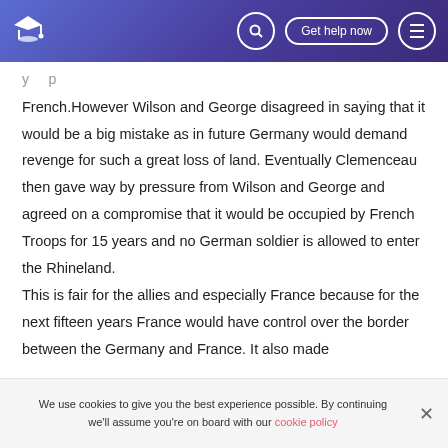🎓 [search] Get help now [menu]
y p
French.However Wilson and George disagreed in saying that it would be a big mistake as in future Germany would demand revenge for such a great loss of land. Eventually Clemenceau then gave way by pressure from Wilson and George and agreed on a compromise that it would be occupied by French Troops for 15 years and no German soldier is allowed to enter the Rhineland.
This is fair for the allies and especially France because for the next fifteen years France would have control over the border between the Germany and France. It also made
We use cookies to give you the best experience possible. By continuing we'll assume you're on board with our cookie policy